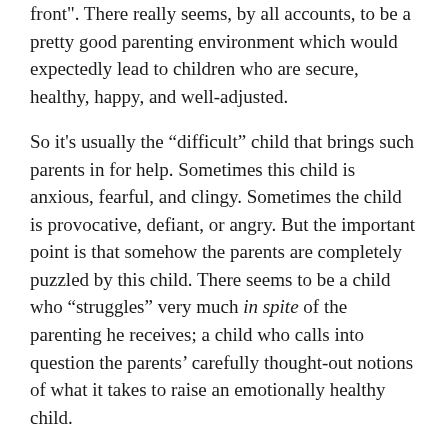front". There really seems, by all accounts, to be a pretty good parenting environment which would expectedly lead to children who are secure, healthy, happy, and well-adjusted.
So it's usually the “difficult” child that brings such parents in for help. Sometimes this child is anxious, fearful, and clingy. Sometimes the child is provocative, defiant, or angry. But the important point is that somehow the parents are completely puzzled by this child. There seems to be a child who “struggles” very much in spite of the parenting he receives; a child who calls into question the parents’ carefully thought-out notions of what it takes to raise an emotionally healthy child.
I have noticed that such parents can tend to be very smart, conscientious, and self-aware and often were prematurely insightful about flaws in the kind of parenting they received as children. They developed a